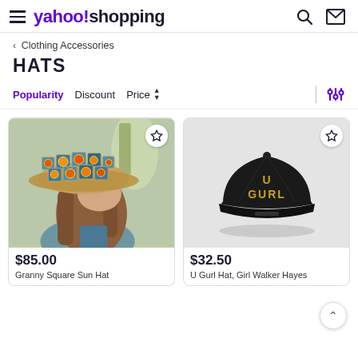yahoo!shopping
< Clothing Accessories
HATS
Popularity  Discount  Price
[Figure (photo): Woman wearing a crochet granny square bucket hat in blue, orange, and beige colors, photographed outdoors.]
$85.00
Granny Square Sun Hat
[Figure (photo): Black flat-brim snapback cap with 'U GURL' embroidered in gold letters, on a light gray background.]
$32.50
U Gurl Hat, Girl Walker Hayes